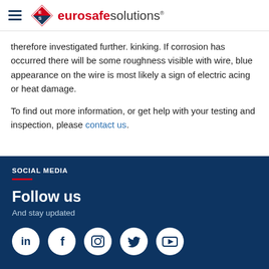eurosafe solutions
therefore investigated further. kinking. If corrosion has occurred there will be some roughness visible with wire, blue appearance on the wire is most likely a sign of electric acing or heat damage.
To find out more information, or get help with your testing and inspection, please contact us.
SOCIAL MEDIA
Follow us
And stay updated
[Figure (logo): Social media icons: LinkedIn, Facebook, Instagram, Twitter, YouTube]